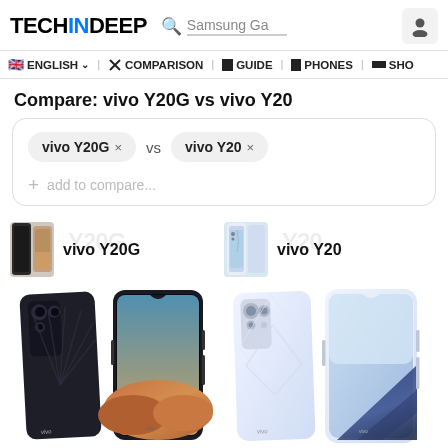TECHINDEEP  Samsung Ga [search]
🇬🇧 ENGLISH ∨  ✗ COMPARISON  ▪ GUIDE  ▪ PHONES  ≡ SHO
Compare: vivo Y20G vs vivo Y20
vivo Y20G ×  vs  vivo Y20 ×
+ add to compare...
vivo Y20G
[Figure (photo): vivo Y20G thumbnail showing back and front of phone]
vivo Y20
[Figure (photo): vivo Y20 thumbnail showing front of phone]
[Figure (photo): vivo Y20G phone image showing dark colored back/front]
[Figure (photo): vivo Y20 phone image showing white/silver colored back/front]